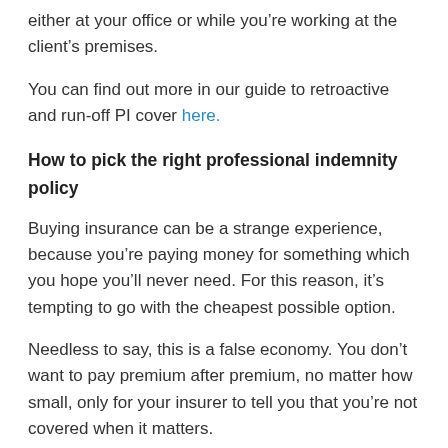either at your office or while you're working at the client's premises.
You can find out more in our guide to retroactive and run-off PI cover here.
How to pick the right professional indemnity policy
Buying insurance can be a strange experience, because you're paying money for something which you hope you'll never need. For this reason, it's tempting to go with the cheapest possible option.
Needless to say, this is a false economy. You don't want to pay premium after premium, no matter how small, only for your insurer to tell you that you're not covered when it matters.